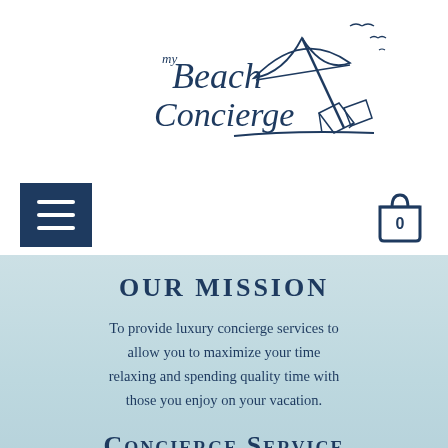[Figure (logo): myBeach Concierge logo with cursive script text and sketch illustration of beach chairs, umbrella, and seagulls]
[Figure (other): Navigation bar with dark navy hamburger menu button on the left and shopping bag icon with '0' on the right]
OUR MISSION
To provide luxury concierge services to allow you to maximize your time relaxing and spending quality time with those you enjoy on your vacation.
Concierge Service
You deserve to relax while enjoying the beauty and sounds of the ocean so allow us to provide you with resort-type service.  We will set up